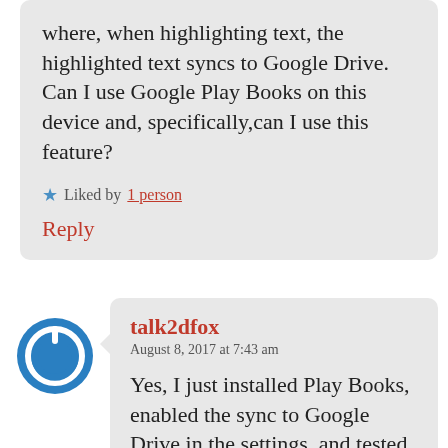where, when highlighting text, the highlighted text syncs to Google Drive. Can I use Google Play Books on this device and, specifically,can I use this feature?
Liked by 1 person
Reply
[Figure (illustration): Blue circular power button icon avatar for user talk2dfox]
talk2dfox
August 8, 2017 at 7:43 am
Yes, I just installed Play Books, enabled the sync to Google Drive in the settings, and tested this, and